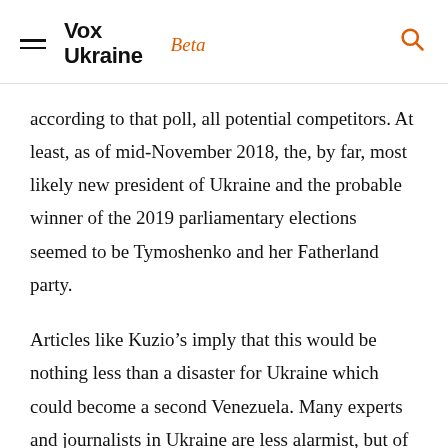Vox Ukraine Beta
according to that poll, all potential competitors. At least, as of mid-November 2018, the, by far, most likely new president of Ukraine and the probable winner of the 2019 parliamentary elections seemed to be Tymoshenko and her Fatherland party.
Articles like Kuzio’s imply that this would be nothing less than a disaster for Ukraine which could become a second Venezuela. Many experts and journalists in Ukraine are less alarmist, but of largely similar opinion. Worse,